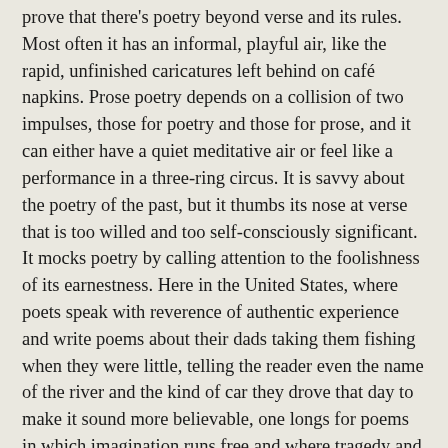prove that there's poetry beyond verse and its rules. Most often it has an informal, playful air, like the rapid, unfinished caricatures left behind on café napkins. Prose poetry depends on a collision of two impulses, those for poetry and those for prose, and it can either have a quiet meditative air or feel like a performance in a three-ring circus. It is savvy about the poetry of the past, but it thumbs its nose at verse that is too willed and too self-consciously significant. It mocks poetry by calling attention to the foolishness of its earnestness. Here in the United States, where poets speak with reverence of authentic experience and write poems about their dads taking them fishing when they were little, telling the reader even the name of the river and the kind of car they drove that day to make it sound more believable, one longs for poems in which imagination runs free and where tragedy and comedy can be shuffled as if they belonged in the same pack of cards.
Naturally, one of the main impulses for writing such a piece is to escape all labels.
Prose poetry is a monster child of two incompatible